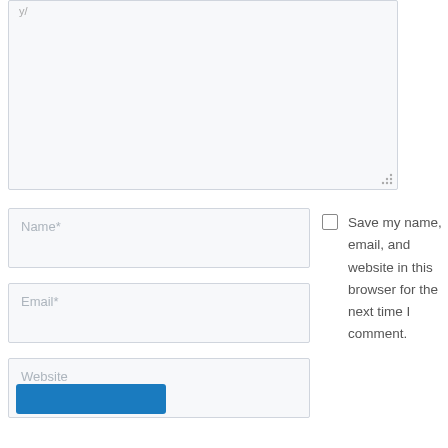[Figure (screenshot): A comment form textarea (large empty input area) with a resize handle at the bottom right, placeholder text partially visible at top left.]
Name*
Save my name, email, and website in this browser for the next time I comment.
Email*
Website
[Figure (screenshot): Submit button (blue rectangle) at the bottom left of the form.]